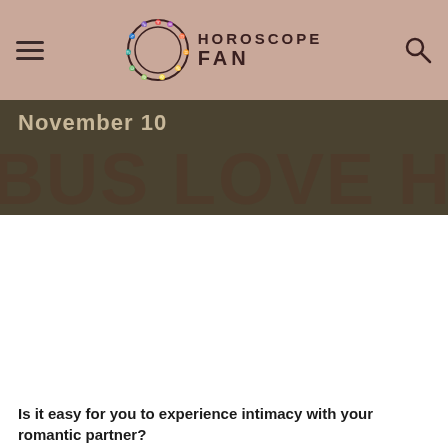HOROSCOPE FAN
November 10
BUS LOVE HOROSC...
Is it easy for you to experience intimacy with your romantic partner?
What are the things that scare you the most in your partnership that